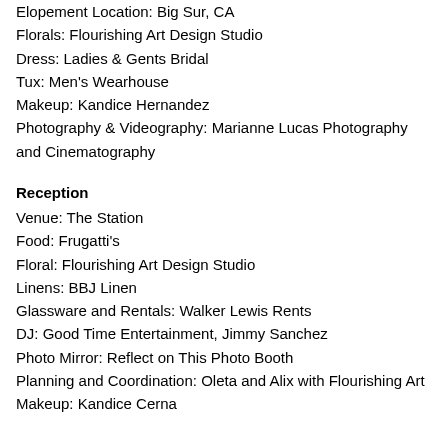Elopement Location: Big Sur, CA
Florals: Flourishing Art Design Studio
Dress: Ladies & Gents Bridal
Tux: Men's Wearhouse
Makeup: Kandice Hernandez
Photography & Videography: Marianne Lucas Photography and Cinematography
Reception
Venue: The Station
Food: Frugatti's
Floral: Flourishing Art Design Studio
Linens: BBJ Linen
Glassware and Rentals: Walker Lewis Rents
DJ: Good Time Entertainment, Jimmy Sanchez
Photo Mirror: Reflect on This Photo Booth
Planning and Coordination: Oleta and Alix with Flourishing Art
Makeup: Kandice Cerna